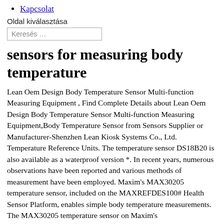Kapcsolat
Oldal kiválasztása
Keresés …
sensors for measuring body temperature
Lean Oem Design Body Temperature Sensor Multi-function Measuring Equipment , Find Complete Details about Lean Oem Design Body Temperature Sensor Multi-function Measuring Equipment,Body Temperature Sensor from Sensors Supplier or Manufacturer-Shenzhen Lean Kiosk Systems Co., Ltd. Temperature Reference Units. The temperature sensor DS18B20 is also available as a waterproof version *. In recent years, numerous observations have been reported and various methods of measurement have been employed. Maxim's MAX30205 temperature sensor, included on the MAXREFDES100# Health Sensor Platform, enables simple body temperature measurements. The MAX30205 temperature sensor on Maxim's MAXREFDES100# Health Sensor Platform (HSP) can be used to measure the external temperature. Thermopile Infrared (IR) Sensors Thermopiles are designed to measure temperature from a distance by detecting an object's infrared (IR) energy. Tempdrop is a wearable sensor that makes it easy for people to monitor and record their basal body temperatures. Quality sensor measuring